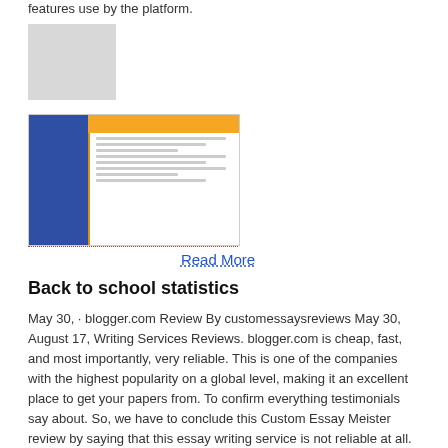features use by the platform.
[Figure (other): Gray placeholder box]
[Figure (screenshot): Screenshot of a writing services website with blue sidebar and orange accents]
Read More
Back to school statistics
May 30, · blogger.com Review By customessaysreviews May 30, August 17, Writing Services Reviews. blogger.com is cheap, fast, and most importantly, very reliable. This is one of the companies with the highest popularity on a global level, making it an excellent place to get your papers from. To confirm everything testimonials say about. So, we have to conclude this Custom Essay Meister review by saying that this essay writing service is not reliable at all. The reviews from their customers we found prior to testing them ourselves were right. blogger.com Review.